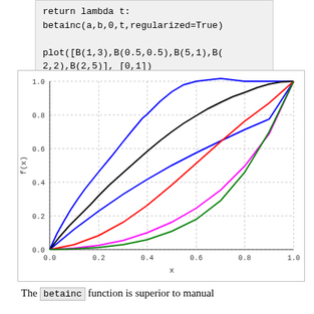return lambda t:
    betainc(a,b,0,t,regularized=True)

plot([B(1,3),B(0.5,0.5),B(5,1),B(2,2),B(2,5)], [0,1])
[Figure (continuous-plot): Line chart showing regularized incomplete beta function CDF curves for five parameter combinations: B(1,3) blue, B(0.5,0.5) black, B(5,1) magenta, B(2,2) red, B(2,5) green. X-axis labeled 'x' from 0.0 to 1.0, Y-axis labeled 'f(x)' from 0.0 to 1.0.]
The betainc function is superior to manual